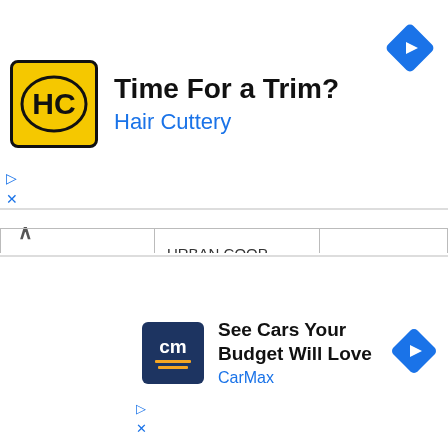[Figure (infographic): Advertisement banner for Hair Cuttery with yellow HC logo, text 'Time For a Trim?' and 'Hair Cuttery' in blue, and a blue diamond navigation arrow icon]
| IFSC Code | Bank Name | Location |
| --- | --- | --- |
| HDFC0CKUCBL | URBAN COOP BANK LTDKOL | KOLHAPUR |
| HDFC0CKUCB9 | KRUSHISEVA URBAN CO OP BANK LTD | SANGOLA |
| HDFC0CKUCB2 | KRISHNA URBAN COOP BANK LTD | KAIJ |
[Figure (infographic): Advertisement banner for CarMax with dark blue CM logo, text 'See Cars Your Budget Will Love' and 'CarMax' in blue, and a blue diamond navigation arrow icon]